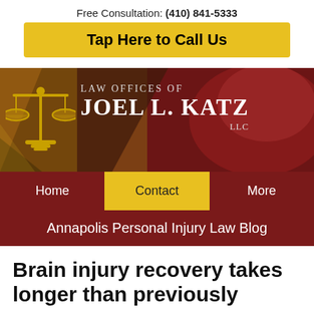Free Consultation: (410) 841-5333
Tap Here to Call Us
[Figure (logo): Law Offices of Joel L. Katz LLC logo with scales of justice icon on a dark red and gold background with Maryland flag motif]
Home | Contact | More
Annapolis Personal Injury Law Blog
Brain injury recovery takes longer than previously